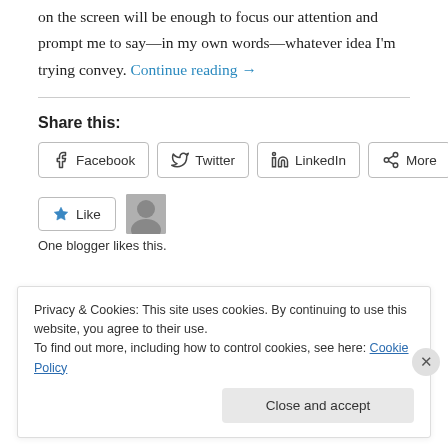on the screen will be enough to focus our attention and prompt me to say—in my own words—whatever idea I'm trying convey. Continue reading →
Share this:
Facebook Twitter LinkedIn More
Like
One blogger likes this.
Privacy & Cookies: This site uses cookies. By continuing to use this website, you agree to their use.
To find out more, including how to control cookies, see here: Cookie Policy
Close and accept